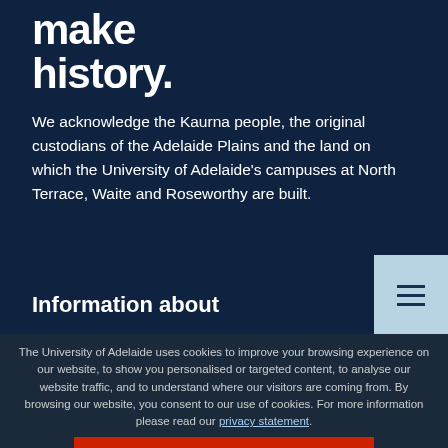make history.
We acknowledge the Kaurna people, the original custodians of the Adelaide Plains and the land on which the University of Adelaide's campuses at North Terrace, Waite and Roseworthy are built.
Information about
The University
Degrees & Courses
Working at Adelaide
Last viewed degrees
The University of Adelaide uses cookies to improve your browsing experience on our website, to show you personalised or targeted content, to analyse our website traffic, and to understand where our visitors are coming from. By browsing our website, you consent to our use of cookies. For more information please read our privacy statement.
How to apply   Contact us